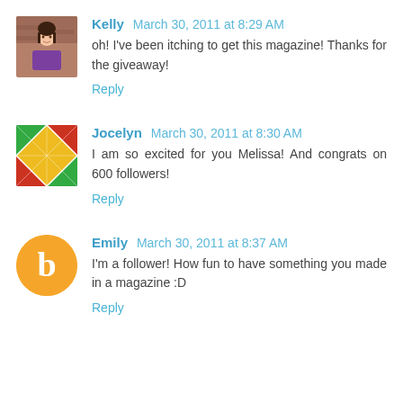[Figure (photo): Avatar photo of Kelly, a woman in a purple shirt sitting at a table with brick wall background]
Kelly March 30, 2011 at 8:29 AM
oh! I've been itching to get this magazine! Thanks for the giveaway!
Reply
[Figure (photo): Avatar photo of Jocelyn, a colorful quilt pattern]
Jocelyn March 30, 2011 at 8:30 AM
I am so excited for you Melissa! And congrats on 600 followers!
Reply
[Figure (logo): Blogger orange circle avatar icon with white 'b' letter for Emily]
Emily March 30, 2011 at 8:37 AM
I'm a follower! How fun to have something you made in a magazine :D
Reply